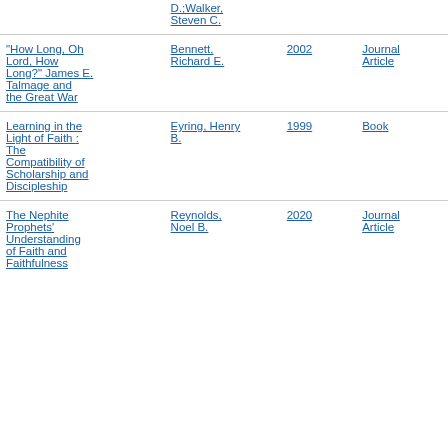| Title | Author | Year | Type |
| --- | --- | --- | --- |
| D.;Walker, Steven C. |  |  |  |
| "How Long, Oh Lord, How Long?" James E. Talmage and the Great War | Bennett, Richard E. | 2002 | Journal Article |
| Learning in the Light of Faith : The Compatibility of Scholarship and Discipleship | Eyring, Henry B. | 1999 | Book |
| The Nephite Prophets' Understanding of Faith and Faithfulness | Reynolds, Noel B. | 2020 | Journal Article |